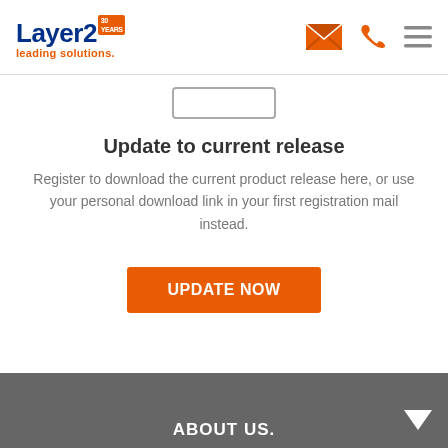Layer2 30 YEARS leading solutions. [navigation icons: email, phone, menu]
[Figure (other): Small gray rounded rectangle decorative element]
Update to current release
Register to download the current product release here, or use your personal download link in your first registration mail instead.
UPDATE NOW
ABOUT US.